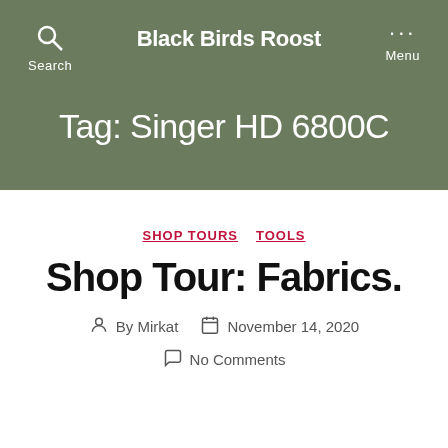Black Birds Roost
Tag: Singer HD 6800C
SHOP TOURS  TOOLS
Shop Tour: Fabrics.
By Mirkat  November 14, 2020  No Comments